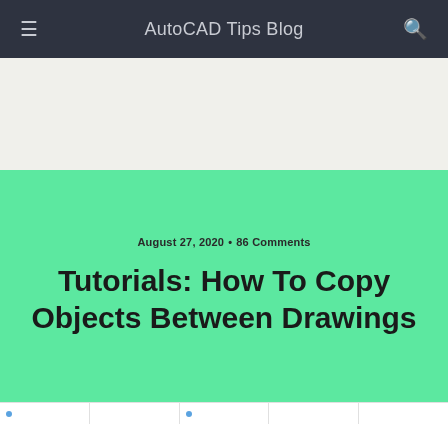AutoCAD Tips Blog
August 27, 2020 • 86 Comments
Tutorials: How To Copy Objects Between Drawings